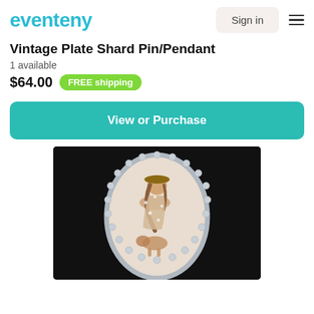[Figure (logo): Eventeny logo in teal/cyan color]
Sign in
Vintage Plate Shard Pin/Pendant
1 available
$64.00  FREE shipping
View or Purchase
[Figure (photo): Vintage plate shard pin/pendant jewelry piece with silver beaded oval frame on black background, showing a painted illustration of a girl with a dog]